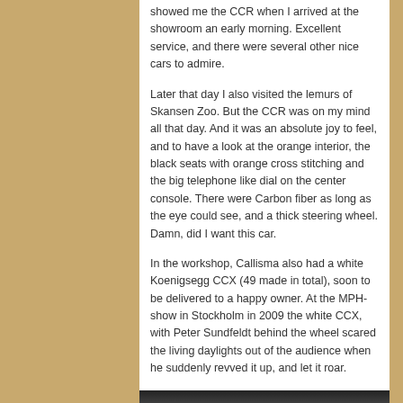showed me the CCR when I arrived at the showroom an early morning. Excellent service, and there were several other nice cars to admire.
Later that day I also visited the lemurs of Skansen Zoo. But the CCR was on my mind all that day. And it was an absolute joy to feel, and to have a look at the orange interior, the black seats with orange cross stitching and the big telephone like dial on the center console. There were Carbon fiber as long as the eye could see, and a thick steering wheel. Damn, did I want this car.
In the workshop, Callisma also had a white Koenigsegg CCX (49 made in total), soon to be delivered to a happy owner. At the MPH-show in Stockholm in 2009 the white CCX, with Peter Sundfeldt behind the wheel scared the living daylights out of the audience when he suddenly revved it up, and let it roar.
[Figure (photo): Dark/black image strip at the bottom, appears to be the top of a photograph partially visible]